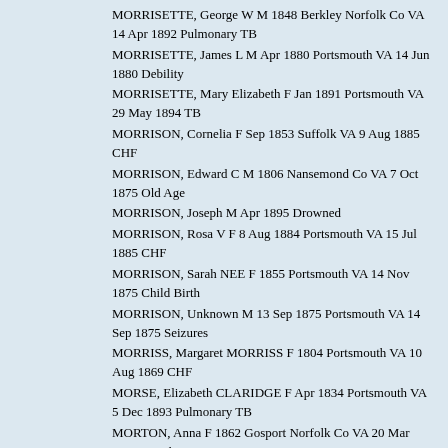MORRISETTE, George W M 1848 Berkley Norfolk Co VA 14 Apr 1892 Pulmonary TB
MORRISETTE, James L M Apr 1880 Portsmouth VA 14 Jun 1880 Debility
MORRISETTE, Mary Elizabeth F Jan 1891 Portsmouth VA 29 May 1894 TB
MORRISON, Cornelia F Sep 1853 Suffolk VA 9 Aug 1885 CHF
MORRISON, Edward C M 1806 Nansemond Co VA 7 Oct 1875 Old Age
MORRISON, Joseph M Apr 1895 Drowned
MORRISON, Rosa V F 8 Aug 1884 Portsmouth VA 15 Jul 1885 CHF
MORRISON, Sarah NEE F 1855 Portsmouth VA 14 Nov 1875 Child Birth
MORRISON, Unknown M 13 Sep 1875 Portsmouth VA 14 Sep 1875 Seizures
MORRISS, Margaret MORRISS F 1804 Portsmouth VA 10 Aug 1869 CHF
MORSE, Elizabeth CLARIDGE F Apr 1834 Portsmouth VA 5 Dec 1893 Pulmonary TB
MORTON, Anna F 1862 Gosport Norfolk Co VA 20 Mar 1865 Diarrhea
MORTON, Charlotte HAMMOND F 1828 New York NY 9 Jul 1894 Asthma
MORTON, John M Dec 1868 Portsmouth VA Sep 1869 Summer Complaint
MORTON, Mary S HODGES F 1841 Portsmouth VA 6 Jan 1883 CHF